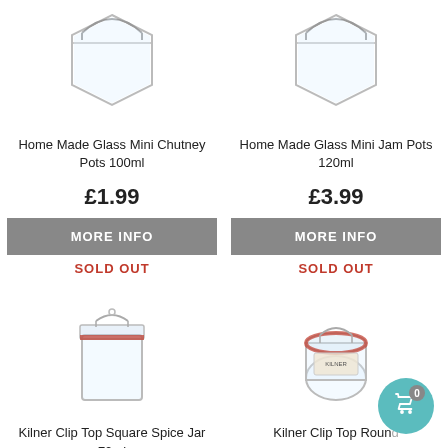[Figure (photo): Home Made Glass Mini Chutney Pots 100ml product image - clear glass hexagonal jar with wire bail closure]
[Figure (photo): Home Made Glass Mini Jam Pots 120ml product image - clear glass hexagonal jar with wire bail closure]
Home Made Glass Mini Chutney Pots 100ml
Home Made Glass Mini Jam Pots 120ml
£1.99
£3.99
MORE INFO
MORE INFO
SOLD OUT
SOLD OUT
[Figure (photo): Kilner Clip Top Square Spice Jar 70ml product image - square glass jar with red rubber seal and metal clip closure]
[Figure (photo): Kilner Clip Top Round jar product image - round glass jar with red rubber seal and metal clip closure, with label]
Kilner Clip Top Square Spice Jar 70ml
Kilner Clip Top Round